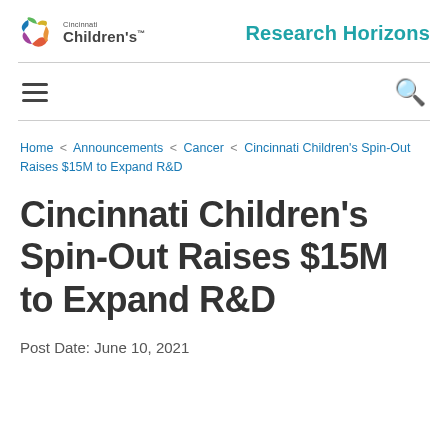[Figure (logo): Cincinnati Children's hospital logo with colorful circular icon and text]
Research Horizons
Home < Announcements < Cancer < Cincinnati Children's Spin-Out Raises $15M to Expand R&D
Cincinnati Children's Spin-Out Raises $15M to Expand R&D
Post Date: June 10, 2021